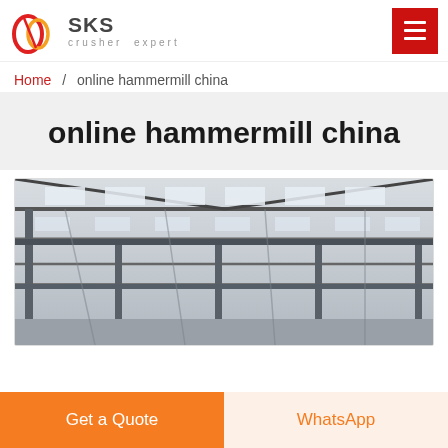SKS crusher expert
Home / online hammermill china
online hammermill china
[Figure (photo): Interior of a large industrial steel-frame warehouse or factory building, showing roof trusses, skylights, and structural steelwork from a low angle.]
Get a Quote
WhatsApp